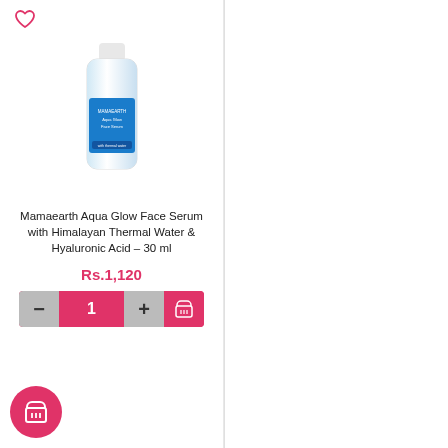[Figure (photo): Mamaearth Aqua Glow Face Serum product bottle with blue label]
Mamaearth Aqua Glow Face Serum with Himalayan Thermal Water & Hyaluronic Acid – 30 ml
Rs.1,120
[Figure (photo): Mamaearth Apple Cider Vinegar Face Mask jar with red and white label]
Mamaearth Apple Cider Vinegar Face Mask For Glowing Skin & Clear Skin With Apple Cider Vinegar & Rosehip for Clear and Glowing Skin – 100 g
Rs.795